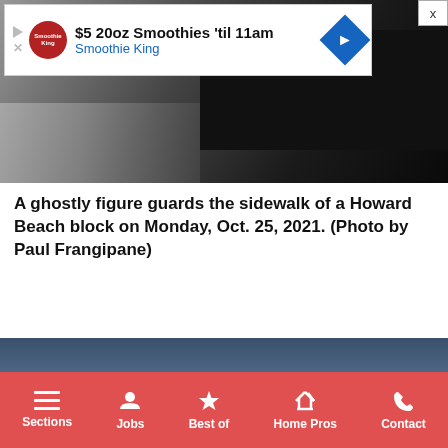[Figure (photo): Dark nighttime street photo from a camera looking down a sidewalk, dark background with some light areas]
[Figure (photo): Advertisement banner: $5 20oz Smoothies 'til 11am Smoothie King]
A ghostly figure guards the sidewalk of a Howard Beach block on Monday, Oct. 25, 2021. (Photo by Paul Frangipane)
[Figure (photo): Nighttime street scene with ghostly Halloween figure, cloudy sky, houses and trees silhouetted]
Sections  Jobs  Best of  Home Pros  Contact